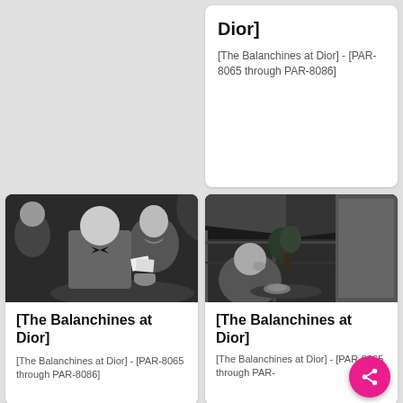Dior]
[The Balanchines at Dior] - [PAR-8065 through PAR-8086]
[Figure (photo): Black and white photo of a man in a suit and bow tie with a woman, sitting at a table, appearing to be at a cafe or restaurant]
[The Balanchines at Dior]
[The Balanchines at Dior] - [PAR-8065 through PAR-8086]
[Figure (photo): Black and white photo of a person sitting at a cafe table, viewed through a window with signage visible in the background]
[The Balanchines at Dior]
[The Balanchines at Dior] - [PAR-8065 through PAR-8086]